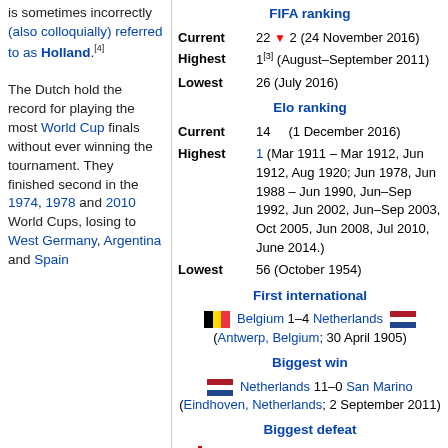is sometimes incorrectly (also colloquially) referred to as Holland.[4] The Dutch hold the record for playing the most World Cup finals without ever winning the tournament. They finished second in the 1974, 1978 and 2010 World Cups, losing to West Germany, Argentina and Spain
FIFA ranking
| Current | 22 ▼ 2 (24 November 2016) |
| Highest | 1[3] (August–September 2011) |
| Lowest | 26 (July 2016) |
Elo ranking
| Current | 14   (1 December 2016) |
| Highest | 1 (Mar 1911 – Mar 1912, Jun 1912, Aug 1920; Jun 1978, Jun 1988 – Jun 1990, Jun–Sep 1992, Jun 2002, Jun–Sep 2003, Oct 2005, Jun 2008, Jul 2010, June 2014.) |
| Lowest | 56 (October 1954) |
First international
Belgium 1–4 Netherlands (Antwerp, Belgium; 30 April 1905)
Biggest win
Netherlands 11–0 San Marino (Eindhoven, Netherlands; 2 September 2011)
Biggest defeat
England Amateurs 12–2 Netherlands (Darlington, England; 21 December 1907)[lower-alpha 1]
World Cup